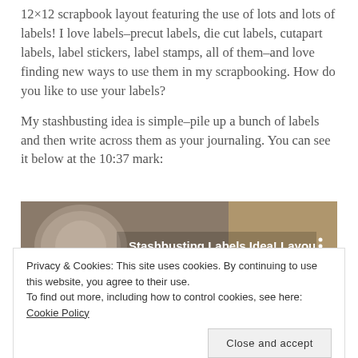12×12 scrapbook layout featuring the use of lots and lots of labels! I love labels–precut labels, die cut labels, cutapart labels, label stickers, label stamps, all of them–and love finding new ways to use them in my scrapbooking. How do you like to use your labels?
My stashbusting idea is simple–pile up a bunch of labels and then write across them as your journaling. You can see it below at the 10:37 mark:
[Figure (screenshot): Video thumbnail showing scrapbooking layout process with title 'Stashbusting Labels Idea! Layou...' and subtitle 'layout process']
Privacy & Cookies: This site uses cookies. By continuing to use this website, you agree to their use. To find out more, including how to control cookies, see here: Cookie Policy
Close and accept